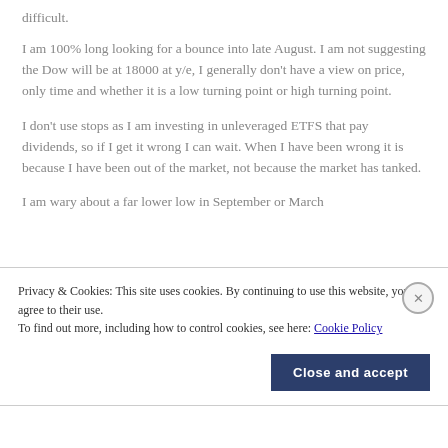difficult.
I am 100% long looking for a bounce into late August. I am not suggesting the Dow will be at 18000 at y/e, I generally don't have a view on price, only time and whether it is a low turning point or high turning point.
I don't use stops as I am investing in unleveraged ETFS that pay dividends, so if I get it wrong I can wait. When I have been wrong it is because I have been out of the market, not because the market has tanked.
I am wary about a far lower low in September or March
Privacy & Cookies: This site uses cookies. By continuing to use this website, you agree to their use.
To find out more, including how to control cookies, see here: Cookie Policy
Close and accept